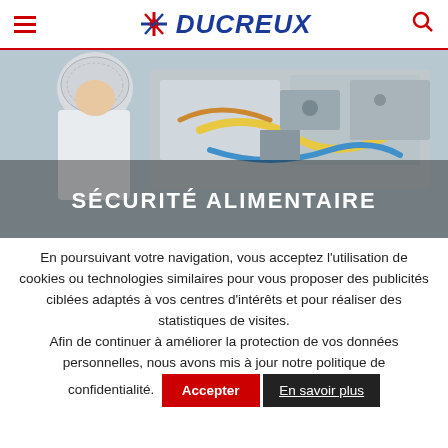DUCREUX
[Figure (photo): Food safety industrial scene: worker in white coat and hairnet operating food processing machinery with tubes and equipment. Text overlay: SÉCURITÉ ALIMENTAIRE]
SÉCURITÉ ALIMENTAIRE
En poursuivant votre navigation, vous acceptez l'utilisation de cookies ou technologies similaires pour vous proposer des publicités ciblées adaptés à vos centres d'intérêts et pour réaliser des statistiques de visites. Afin de continuer à améliorer la protection de vos données personnelles, nous avons mis à jour notre politique de confidentialité.
Accepter
En savoir plus